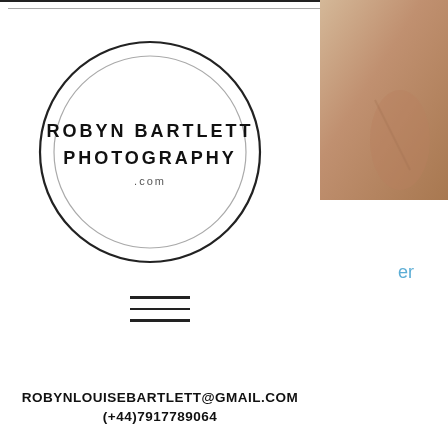[Figure (logo): Circular logo for Robyn Bartlett Photography .com with two concentric circles]
[Figure (illustration): Hamburger menu icon (three horizontal lines)]
ROBYNLOUISEBARTLETT@GMAIL.COM
(+44)7917789064
[Figure (photo): Partial warm-toned photograph visible in top-right corner]
#growth #affiliatemarketing #robothreesixfive #tumblr #instagram
updates • social media